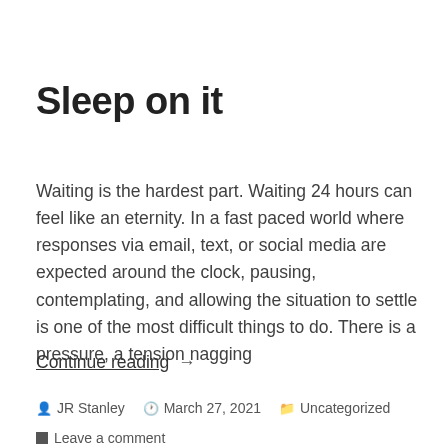Sleep on it
Waiting is the hardest part. Waiting 24 hours can feel like an eternity. In a fast paced world where responses via email, text, or social media are expected around the clock, pausing, contemplating, and allowing the situation to settle is one of the most difficult things to do. There is a pressure, a tension nagging
Continue reading →
JR Stanley   March 27, 2021   Uncategorized   Leave a comment